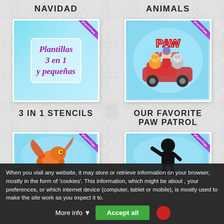NAVIDAD
[Figure (illustration): Thumbnail showing 'Plantillas 3 en 1 y pequeñas' text on light blue background with purple ribbon corner badge]
ANIMALS
[Figure (illustration): Thumbnail showing PAW PATROL characters on light blue background with purple ribbon corner badge]
3 IN 1 STENCILS
[Figure (illustration): Thumbnail showing orange dragon on light blue background with purple ribbon corner badge]
OUR FAVORITE PAW PATROL
[Figure (illustration): Thumbnail showing silhouette figure on light blue background with purple ribbon corner badge]
When you visit any website, it may store or retrieve information on your browser, mostly in the form of 'cookies'. This information, which might be about , your preferences, or which internet device (computer, tablet or mobile), is mostly used to make the site work as you expect it to.